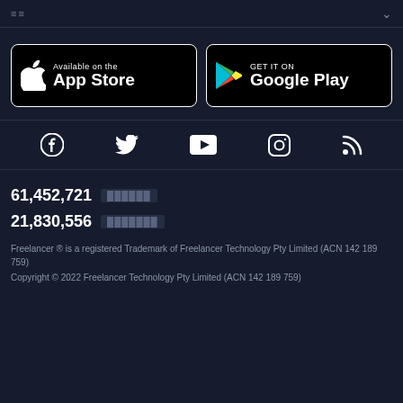≡≡  ∨
[Figure (logo): App Store and Google Play download buttons]
[Figure (infographic): Social media icons: Facebook, Twitter, YouTube, Instagram, RSS]
61,452,721 [redacted label]
21,830,556 [redacted label]
Freelancer ® is a registered Trademark of Freelancer Technology Pty Limited (ACN 142 189 759)
Copyright © 2022 Freelancer Technology Pty Limited (ACN 142 189 759)